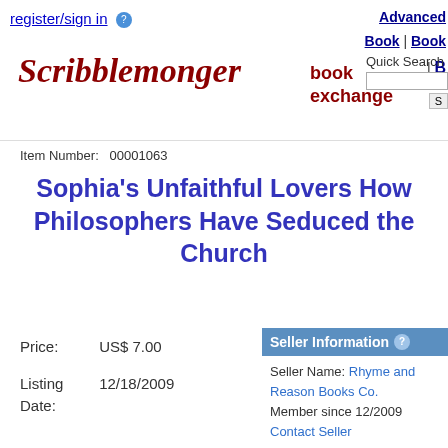register/sign in
Advanced Book | Book | B
[Figure (logo): Scribblemonger book exchange logo with cursive red text and bold dark red 'book exchange' text]
Quick Search
Item Number:  00001063
Sophia's Unfaithful Lovers How Philosophers Have Seduced the Church
Price:    US$ 7.00
Listing Date:  12/18/2009
| Seller Information |
| --- |
| Seller Name: Rhyme and Reason Books Co. |
| Member since 12/2009 |
| Contact Seller |
| Location: Dayton, Ohio, United States |